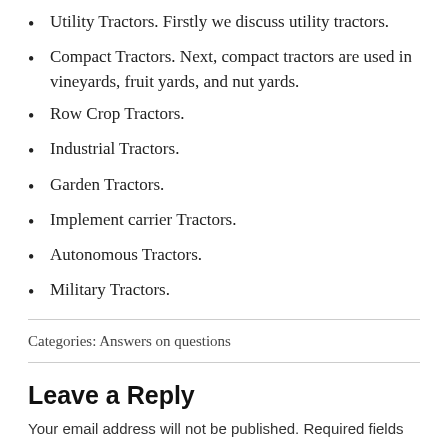Utility Tractors. Firstly we discuss utility tractors.
Compact Tractors. Next, compact tractors are used in vineyards, fruit yards, and nut yards.
Row Crop Tractors.
Industrial Tractors.
Garden Tractors.
Implement carrier Tractors.
Autonomous Tractors.
Military Tractors.
Categories: Answers on questions
Leave a Reply
Your email address will not be published. Required fields